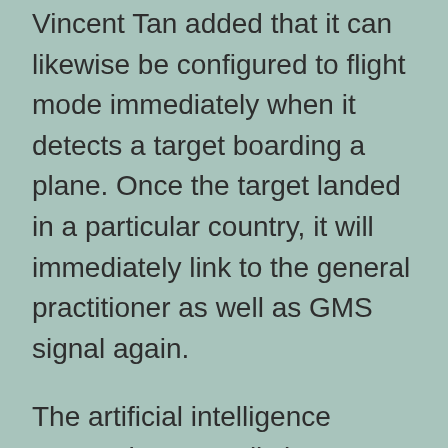Vincent Tan added that it can likewise be configured to flight mode immediately when it detects a target boarding a plane. Once the target landed in a particular country, it will immediately link to the general practitioner as well as GMS signal again.
The artificial intelligence system has actually been assisting private investigators around the globe making use of face recognition, fingerprint recognition, as well as cybersecurity discovery.
In today's internet setting Artificial Intelligence device plays a vital part in assisting Private